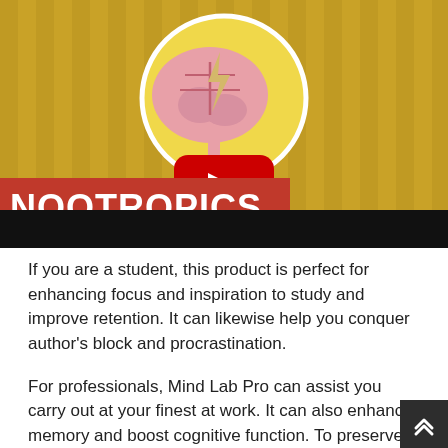[Figure (screenshot): YouTube video thumbnail showing an animated brain with a lightning bolt inside a circular frame on a yellow striped background. A red YouTube play button is centered. A red banner at the bottom left reads 'NOOTROPICS' in white bold text. Below the thumbnail is a black bar.]
If you are a student, this product is perfect for enhancing focus and inspiration to study and improve retention. It can likewise help you conquer author's block and procrastination.
For professionals, Mind Lab Pro can assist you carry out at your finest at work. It can also enhance memory and boost cognitive function. To preserve